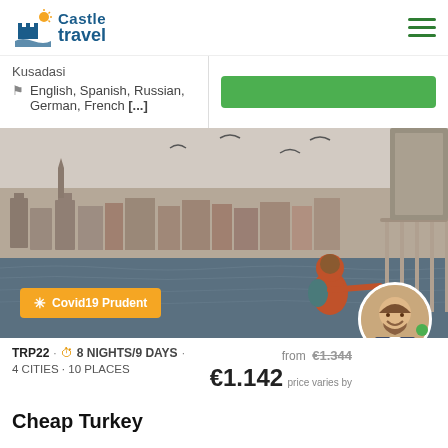[Figure (logo): Castle Travel logo with castle icon and sun]
Kusadasi
English, Spanish, Russian, German, French [...]
[Figure (photo): Istanbul cityscape viewed from a ferry, with a woman in red coat looking at the city, seagulls flying overhead]
Covid19 Prudent
TRP22 · 8 NIGHTS/9 DAYS · 4 CITIES · 10 PLACES
from €1.344  €1.142  price varies by
Cheap Turkey